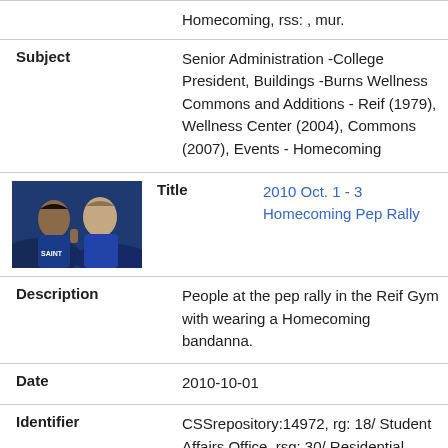| Field | Value |
| --- | --- |
| Subject | Senior Administration -College President, Buildings -Burns Wellness Commons and Additions - Reif (1979), Wellness Center (2004), Commons (2007), Events - Homecoming |
| Title | 2010 Oct. 1 - 3 Homecoming Pep Rally |
| Description | People at the pep rally in the Reif Gym with wearing a Homecoming bandanna. |
| Date | 2010-10-01 |
| Identifier | CSSrepository:14972, rg: 18/ Student Affairs Office, rsg: 30/ Residential Life/Housing, rs: 04/ |
[Figure (photo): Two people at a homecoming event, one wearing a Saints shirt, in a gymnasium setting with blue lighting]